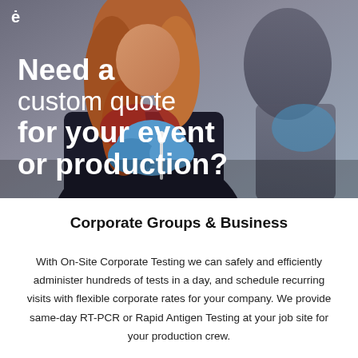[Figure (photo): A healthcare worker wearing blue gloves and a dark jacket, holding a COVID-19 test swab. White bold text overlay reads 'Need a custom quote for your event or production?'. A small logo with an 'e' character appears in the top left corner.]
Corporate Groups & Business
With On-Site Corporate Testing we can safely and efficiently administer hundreds of tests in a day, and schedule recurring visits with flexible corporate rates for your company. We provide same-day RT-PCR or Rapid Antigen Testing at your job site for your production crew.